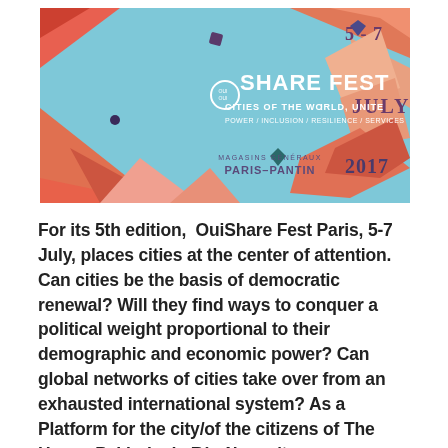[Figure (illustration): OuiShare Fest promotional banner with geometric orange, salmon, and blue shapes on a light blue background. Text reads: OUISHARE FEST, CITIES OF THE WORLD, UNITE!, POWER / INCLUSION / RESILIENCE / SERVICES, MAGASINS GÉNÉRAUX PARIS–PANTIN, 5-7 JULY 2017.]
For its 5th edition,  OuiShare Fest Paris, 5-7 July, places cities at the center of attention. Can cities be the basis of democratic renewal? Will they find ways to conquer a political weight proportional to their demographic and economic power? Can global networks of cities take over from an exhausted international system? As a Platform for the city/of the citizens of The Hague Pakhuis de Règâh can't